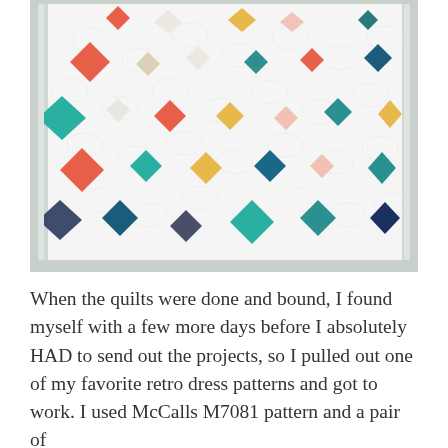[Figure (photo): A white quilt with colorful diamond/star shapes in coral, teal, navy, yellow/gold, pink, and floral print fabrics, leaning against a window frame.]
When the quilts were done and bound, I found myself with a few more days before I absolutely HAD to send out the projects, so I pulled out one of my favorite retro dress patterns and got to work. I used McCalls M7081 pattern and a pair of